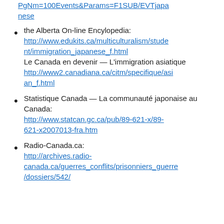PgNm=100Events&Params=F1SUB/EVTjapanese (URL continuation)
the Alberta On-line Encylopedia: http://www.edukits.ca/multiculturalism/student/immigration_japanese_f.html Le Canada en devenir — L'immigration asiatique http://www2.canadiana.ca/citm/specifique/asian_f.html
Statistique Canada — La communauté japonaise au Canada: http://www.statcan.gc.ca/pub/89-621-x/89-621-x2007013-fra.htm
Radio-Canada.ca: http://archives.radio-canada.ca/guerres_conflits/prisonniers_guerre/dossiers/542/